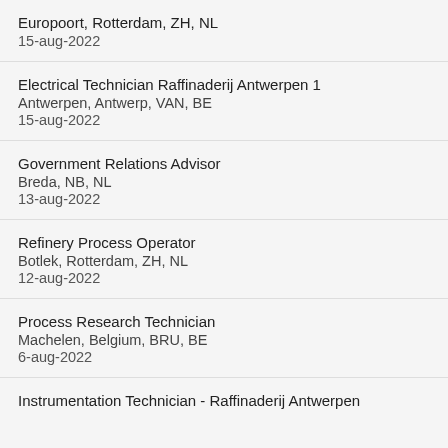Europoort, Rotterdam, ZH, NL
15-aug-2022
Electrical Technician Raffinaderij Antwerpen 1
Antwerpen, Antwerp, VAN, BE
15-aug-2022
Government Relations Advisor
Breda, NB, NL
13-aug-2022
Refinery Process Operator
Botlek, Rotterdam, ZH, NL
12-aug-2022
Process Research Technician
Machelen, Belgium, BRU, BE
6-aug-2022
Instrumentation Technician - Raffinaderij Antwerpen